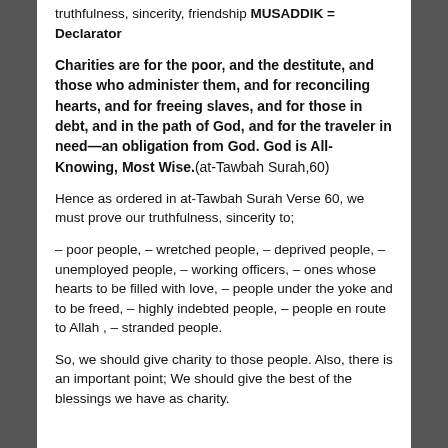truthfulness, sincerity, friendship MUSADDIK = Declarator
Charities are for the poor, and the destitute, and those who administer them, and for reconciling hearts, and for freeing slaves, and for those in debt, and in the path of God, and for the traveler in need—an obligation from God. God is All-Knowing, Most Wise.(at-Tawbah Surah,60)
Hence as ordered in at-Tawbah Surah Verse 60, we must prove our truthfulness, sincerity to;
– poor people, – wretched people, – deprived people, – unemployed people, – working officers, – ones whose hearts to be filled with love, – people under the yoke and to be freed, – highly indebted people, – people en route to Allah , – stranded people.
So, we should give charity to those people. Also, there is an important point; We should give the best of the blessings we have as charity.